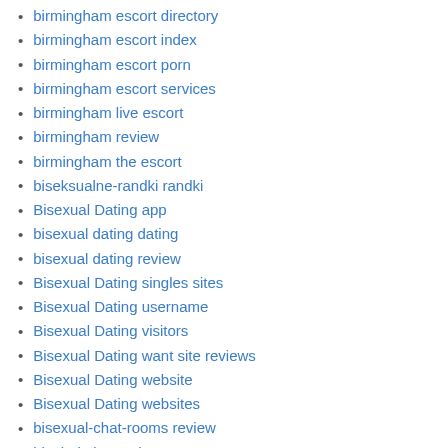birmingham escort directory
birmingham escort index
birmingham escort porn
birmingham escort services
birmingham live escort
birmingham review
birmingham the escort
biseksualne-randki randki
Bisexual Dating app
bisexual dating dating
bisexual dating review
Bisexual Dating singles sites
Bisexual Dating username
Bisexual Dating visitors
Bisexual Dating want site reviews
Bisexual Dating website
Bisexual Dating websites
bisexual-chat-rooms review
black dating review
Black Dating reviews
black dating sign in
Black Dating Sites app for
Black Dating Sites local